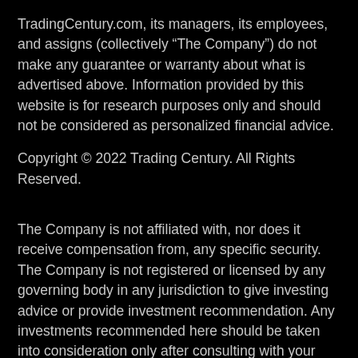TradingCentury.com, its managers, its employees, and assigns (collectively “The Company”) do not make any guarantee or warranty about what is advertised above. Information provided by this website is for research purposes only and should not be considered as personalized financial advice.
Copyright © 2022 Trading Century. All Rights Reserved.
The Company is not affiliated with, nor does it receive compensation from, any specific security. The Company is not registered or licensed by any governing body in any jurisdiction to give investing advice or provide investment recommendation. Any investments recommended here should be taken into consideration only after consulting with your investment advisor and after reviewing the prospectus or financial statements of the company.